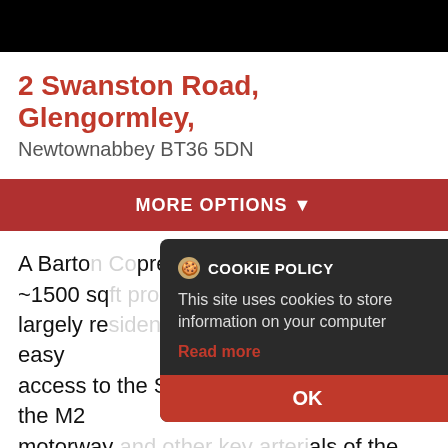2 Swanston Road, Glengormley, Newtownabbey BT36 5DN
MORE OPTIONS ▼
A Barton Co presents TO LET, this ~1500 sq ft property situated within a largely residential catchment, but with easy access to the Sandyknowes junction of the M2 motorway and other key arterials of the Province. Use as a convenience shop or as a retail showroom are indicated, but
[Figure (screenshot): Cookie policy modal overlay with dark background, showing 'COOKIE POLICY' title with cookie icon, body text 'This site uses cookies to store information on your computer', a red 'Read more' link, and a red 'OK' button at the bottom.]